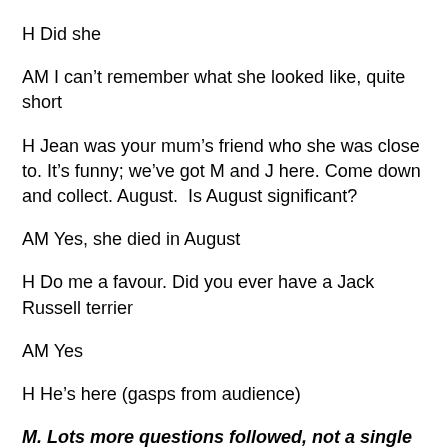H Did she
AM I can't remember what she looked like, quite short
H Jean was your mum's friend who she was close to. It's funny; we've got M and J here. Come down and collect. August.  Is August significant?
AM Yes, she died in August
H Do me a favour. Did you ever have a Jack Russell terrier
AM Yes
H He's here (gasps from audience)
M. Lots more questions followed, not a single statement was given. Absolutely typical 5th rate cold reading. He's on to a winner, though. His audience don't need convincing, they are already convinced. It matters not that he isn't